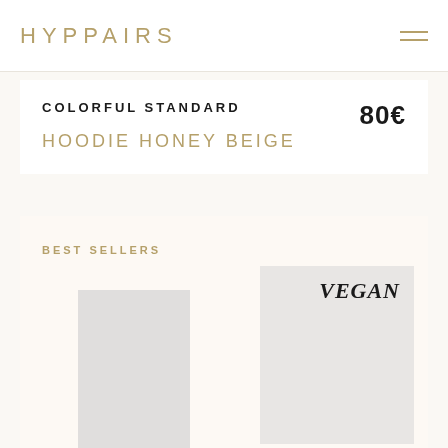HYPPAIRS
COLORFUL STANDARD
80€
HOODIE HONEY BEIGE
BEST SELLERS
[Figure (photo): Product image placeholder (light gray rectangle)]
[Figure (photo): Product image with VEGAN text overlay on light gray background]